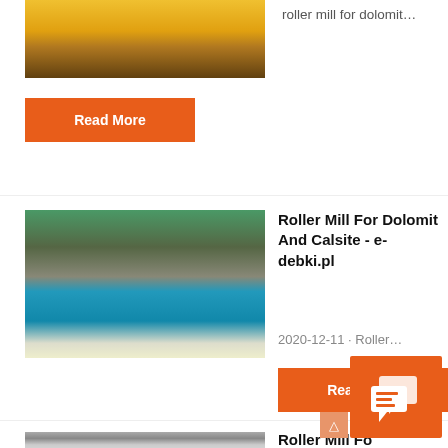[Figure (photo): Partial photo of an industrial crane/overhead machinery with yellow structure]
roller mill for dolomit…
Read More
[Figure (photo): Blue mobile rock crushing/screening machine in a quarry setting with rocky cliff background]
Roller Mill For Dolomit And Calsite - e-debki.pl
2020-12-11 · Roller…
Read More
[Figure (photo): Industrial silo/dust collector building with conveyor structures]
Roller Mill For Dolomit And Calsite - montagetapes.nl